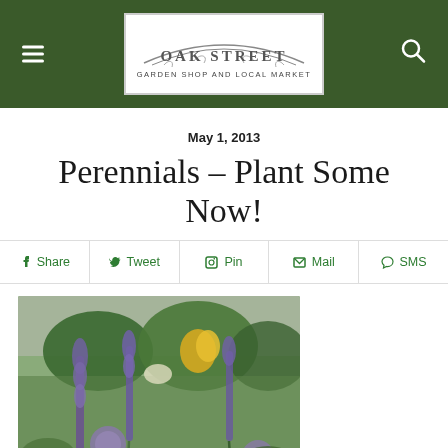Oak Street Garden Shop and Local Market — header logo and navigation
May 1, 2013
Perennials – Plant Some Now!
Share  Tweet  Pin  Mail  SMS
[Figure (photo): Garden photo showing purple flower spikes (liatris/salvia) and yellow daylilies with green foliage background]